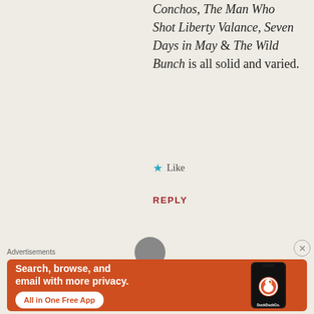Conchos, The Man Who Shot Liberty Valance, Seven Days in May & The Wild Bunch is all solid and varied.
★ Like
REPLY
[Figure (photo): Partial circular avatar photo, partially visible at bottom center of the comment section]
Advertisements
[Figure (infographic): DuckDuckGo advertisement banner with orange background. Text reads: 'Search, browse, and email with more privacy. All in One Free App'. Shows a phone with DuckDuckGo logo and app interface.]